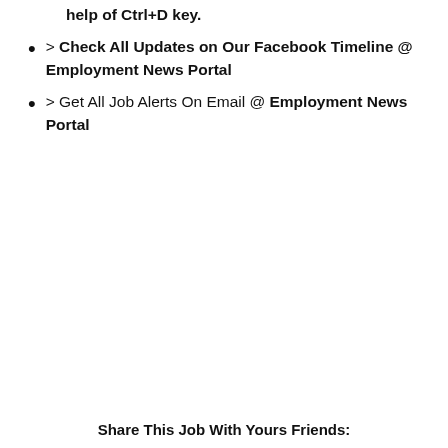help of Ctrl+D key.
> Check All Updates on Our Facebook Timeline @ Employment News Portal
> Get All Job Alerts On Email @ Employment News Portal
Share This Job With Yours Friends: